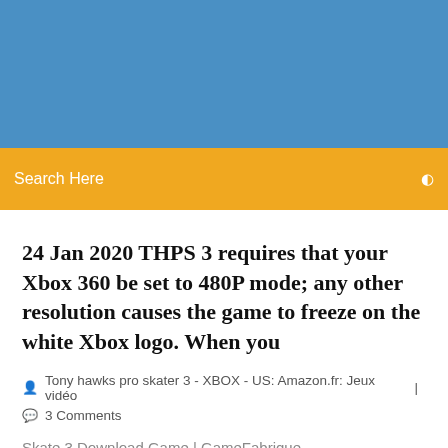[Figure (photo): Blue banner image at the top of the webpage]
Search Here
24 Jan 2020 THPS 3 requires that your Xbox 360 be set to 480P mode; any other resolution causes the game to freeze on the white Xbox logo. When you
Tony hawks pro skater 3 - XBOX - US: Amazon.fr: Jeux vidéo  |  3 Comments
Skate 3 Download Game | GameFabrique